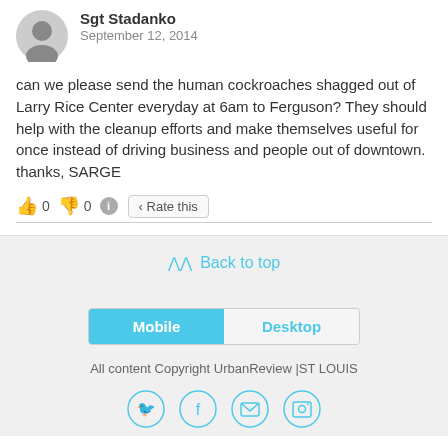Sgt Stadanko
September 12, 2014
can we please send the human cockroaches shagged out of Larry Rice Center everyday at 6am to Ferguson? They should help with the cleanup efforts and make themselves useful for once instead of driving business and people out of downtown. thanks, SARGE
👍 0 👎 0 ℹ Rate this
Back to top
Mobile | Desktop
All content Copyright UrbanReview |ST LOUIS